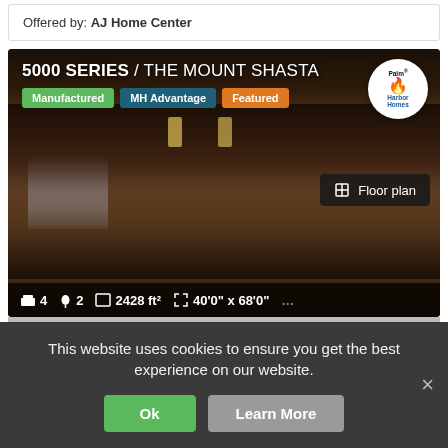Offered by: AJ Home Center
[Figure (photo): Interior photo of a manufactured home kitchen - 5000 Series / The Mount Shasta by Palm Harbor Homes. Shows dark wood cabinets, kitchen island with bar seating, pendant lighting. Overlaid with badges: Manufactured, MH Advantage, Featured. Stats: 4 bedrooms, 2 bathrooms, 2428 ft², 40'0" x 68'0". Floor plan button visible.]
This website uses cookies to ensure you get the best experience on our website.